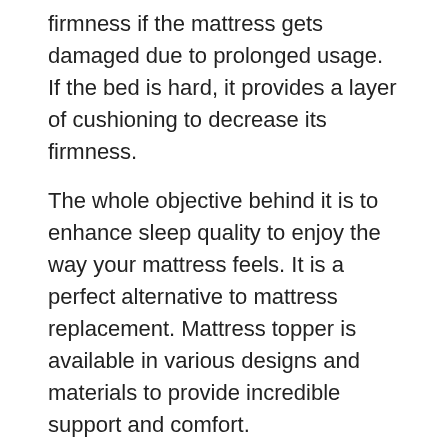firmness if the mattress gets damaged due to prolonged usage. If the bed is hard, it provides a layer of cushioning to decrease its firmness.
The whole objective behind it is to enhance sleep quality to enjoy the way your mattress feels. It is a perfect alternative to mattress replacement. Mattress topper is available in various designs and materials to provide incredible support and comfort.
[Figure (other): A blue button labeled 'Shop For Best Deals' with a thumbs-up icon on the left side]
What Are The Materials Of A Down Mattress Topper?